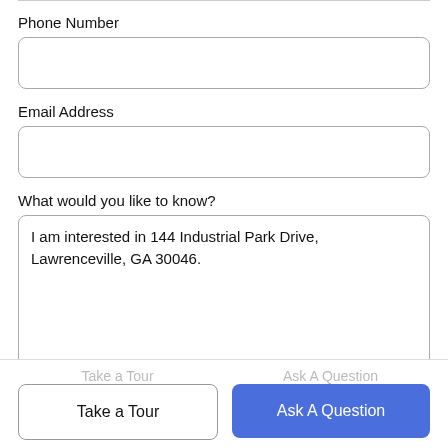Phone Number
Email Address
What would you like to know?
I am interested in 144 Industrial Park Drive, Lawrenceville, GA 30046.
Take a Tour
Ask A Question